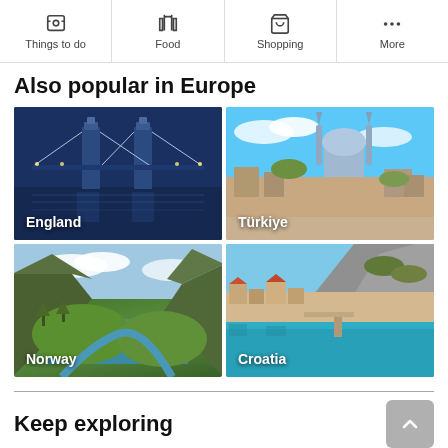Things to do | Food | Shopping | More
Also popular in Europe
[Figure (photo): 2x2 grid of European destination photos: England (Tower Bridge at night), Türkiye (Istanbul skyline with mosque), Norway (fjord landscape), Croatia (coastal town with mountains)]
Keep exploring